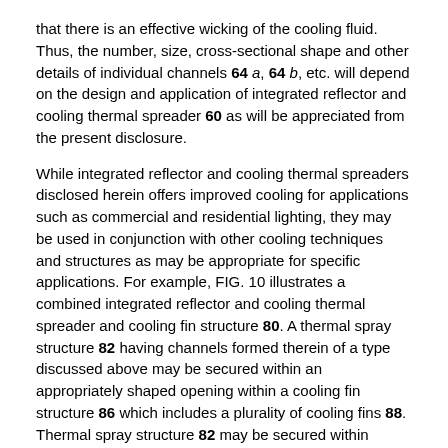that there is an effective wicking of the cooling fluid. Thus, the number, size, cross-sectional shape and other details of individual channels 64 a, 64 b, etc. will depend on the design and application of integrated reflector and cooling thermal spreader 60 as will be appreciated from the present disclosure.
While integrated reflector and cooling thermal spreaders disclosed herein offers improved cooling for applications such as commercial and residential lighting, they may be used in conjunction with other cooling techniques and structures as may be appropriate for specific applications. For example, FIG. 10 illustrates a combined integrated reflector and cooling thermal spreader and cooling fin structure 80. A thermal spray structure 82 having channels formed therein of a type discussed above may be secured within an appropriately shaped opening within a cooling fin structure 86 which includes a plurality of cooling fins 88. Thermal spray structure 82 may be secured within cooling fin structure 86 by retaining ring 90, adhesive (not shown) or other mechanical fastener arrangement. Heat generated from solid-state light source 92 may then be very effectively dissipated.